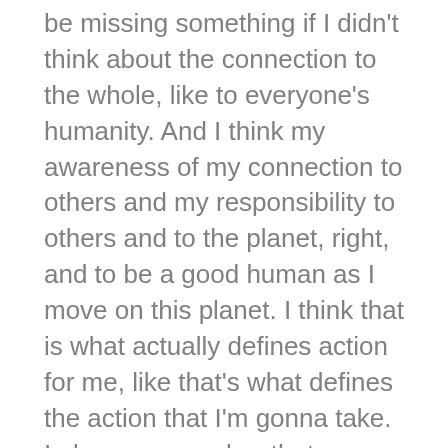be missing something if I didn't think about the connection to the whole, like to everyone's humanity. And I think my awareness of my connection to others and my responsibility to others and to the planet, right, and to be a good human as I move on this planet. I think that is what actually defines action for me, like that's what defines the action that I'm gonna take. I always remember that my actions affect other people because I've been negatively impacted by culture and by individuals and culture based on identity, and so, and I think it has to do with how I was raised, I think it has to do with my mom and her work, she's a special education teacher, she was, for thirty years, and I spent a